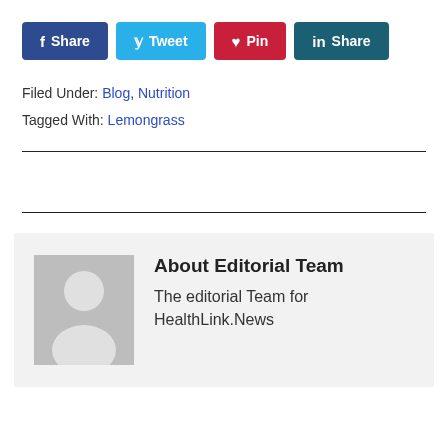Share  Tweet  Pin  Share
Filed Under: Blog, Nutrition
Tagged With: Lemongrass
About Editorial Team
The editorial Team for HealthLink.News